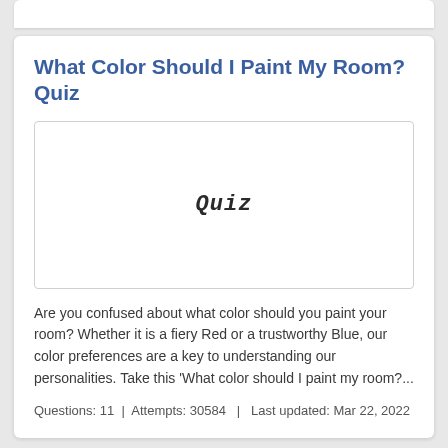What Color Should I Paint My Room? Quiz
[Figure (illustration): A bordered white box with the word 'Quiz' in italic handwriting-style font centered inside it]
Are you confused about what color should you paint your room? Whether it is a fiery Red or a trustworthy Blue, our color preferences are a key to understanding our personalities. Take this 'What color should I paint my room?...
Questions: 11  |  Attempts: 30584   |  Last updated: Mar 22, 2022